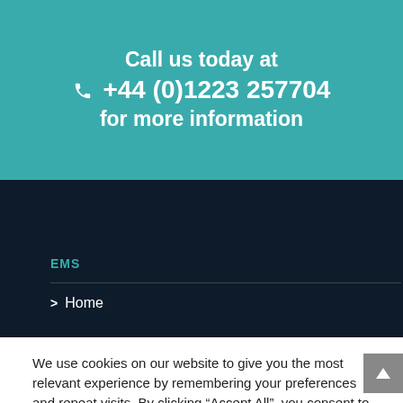Call us today at +44 (0)1223 257704 for more information
EMS
> Home
We use cookies on our website to give you the most relevant experience by remembering your preferences and repeat visits. By clicking “Accept All”, you consent to the use of ALL the cookies. However, you may visit "Cookie Settings" to provide a controlled consent.
Cookie Settings | Accept All